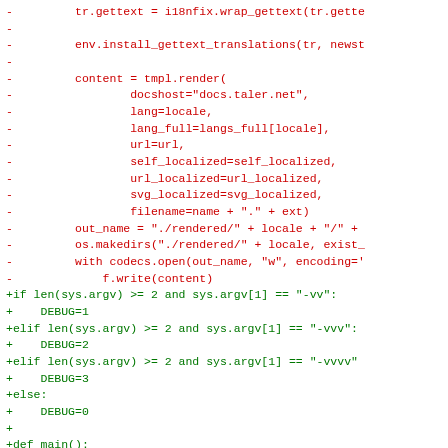[Figure (other): Code diff showing removed lines (red, prefixed with -) and added lines (green, prefixed with +) in a Python script dealing with gettext translation, template rendering, and a main() function with debug level parsing.]